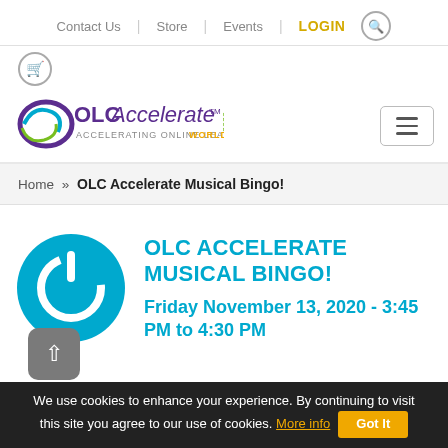Contact Us | Store | Events | LOGIN
[Figure (logo): OLC Accelerate 2020 logo - accelerating online learning worldwide]
Home » OLC Accelerate Musical Bingo!
[Figure (illustration): Blue circular power button icon]
OLC ACCELERATE MUSICAL BINGO!
Friday November 13, 2020 - 3:45 PM to 4:30 PM
We use cookies to enhance your experience. By continuing to visit this site you agree to our use of cookies. More info  Got It